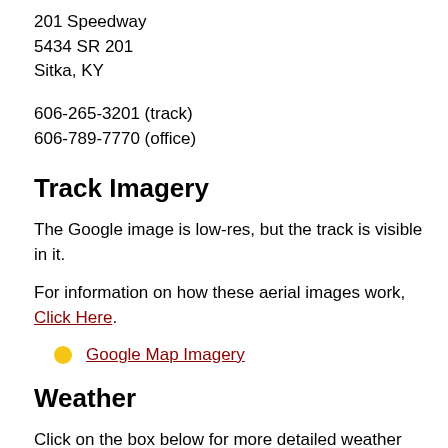201 Speedway
5434 SR 201
Sitka, KY
606-265-3201 (track)
606-789-7770 (office)
Track Imagery
The Google image is low-res, but the track is visible in it.
For information on how these aerial images work, Click Here.
Google Map Imagery
Weather
Click on the box below for more detailed weather information, including a forecast for the next several days.